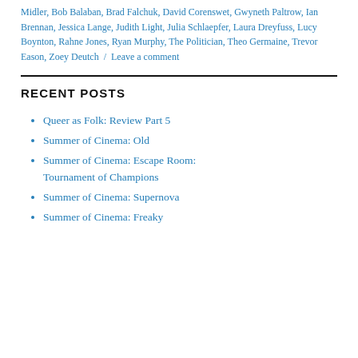Midler, Bob Balaban, Brad Falchuk, David Corenswet, Gwyneth Paltrow, Ian Brennan, Jessica Lange, Judith Light, Julia Schlaepfer, Laura Dreyfuss, Lucy Boynton, Rahne Jones, Ryan Murphy, The Politician, Theo Germaine, Trevor Eason, Zoey Deutch / Leave a comment
RECENT POSTS
Queer as Folk: Review Part 5
Summer of Cinema: Old
Summer of Cinema: Escape Room: Tournament of Champions
Summer of Cinema: Supernova
Summer of Cinema: Freaky